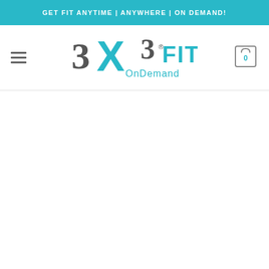GET FIT ANYTIME | ANYWHERE | ON DEMAND!
[Figure (logo): 3X3 FIT OnDemand logo with hamburger menu and cart icon]